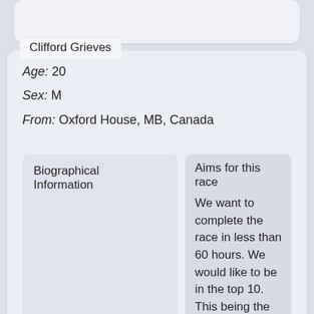Clifford Grieves
Age: 20
Sex: M
From: Oxford House, MB, Canada
Biographical Information
Aims for this race
We want to complete the race in less than 60 hours. We would like to be in the top 10. This being the first time we compete we would like to surprise everyone with our unexpected endurance, power,